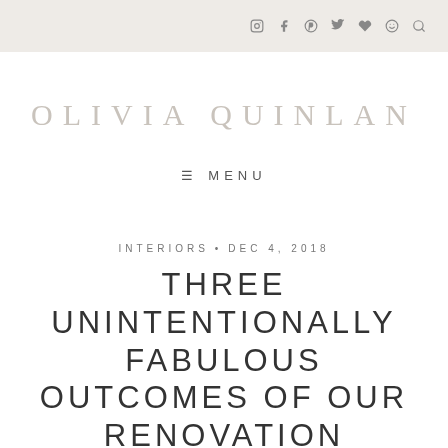Social icons: Instagram, Facebook, Pinterest, Twitter, Heart, Smile, Search
OLIVIA QUINLAN
≡ MENU
INTERIORS • DEC 4, 2018
THREE UNINTENTIONALLY FABULOUS OUTCOMES OF OUR RENOVATION